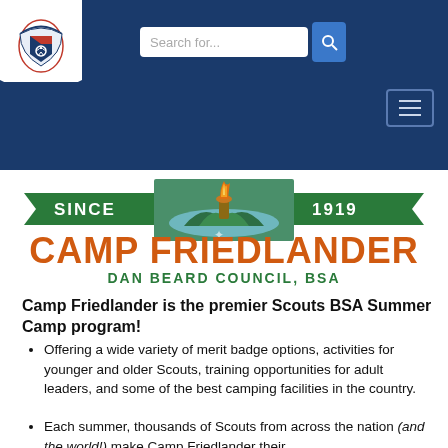[Figure (screenshot): BSA Boy Scouts of America logo — fleur-de-lis emblem in red, white, blue on white shield with pennant shape]
Search for...
[Figure (logo): Camp Friedlander logo: green banner ribbons reading SINCE and 1919, camp scene with lake and flame torch, text CAMP FRIEDLANDER and DAN BEARD COUNCIL, BSA]
Camp Friedlander is the premier Scouts BSA Summer Camp program!
Offering a wide variety of merit badge options, activities for younger and older Scouts, training opportunities for adult leaders, and some of the best camping facilities in the country.
Each summer, thousands of Scouts from across the nation (and the world!) make Camp Friedlander their